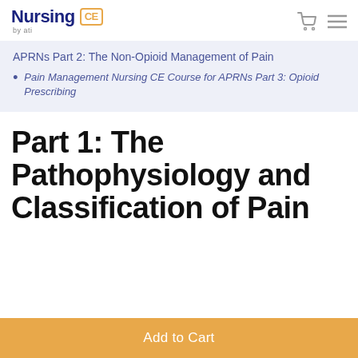Nursing CE by ati
APRNs Part 2: The Non-Opioid Management of Pain
Pain Management Nursing CE Course for APRNs Part 3: Opioid Prescribing
Part 1: The Pathophysiology and Classification of Pain
Add to Cart